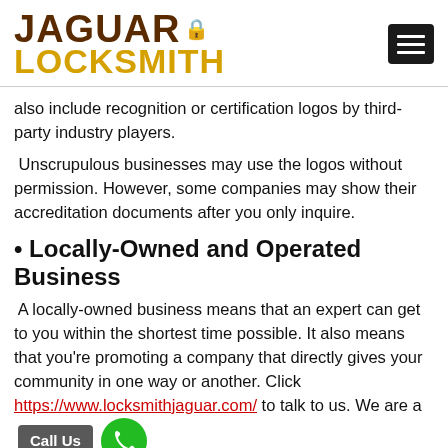JAGUAR LOCKSMITH
also include recognition or certification logos by third-party industry players.
Unscrupulous businesses may use the logos without permission. However, some companies may show their accreditation documents after you only inquire.
• Locally-Owned and Operated Business
A locally-owned business means that an expert can get to you within the shortest time possible. It also means that you're promoting a company that directly gives your community in one way or another. Click https://www.locksmithjaguar.com/ to talk to us. We are a